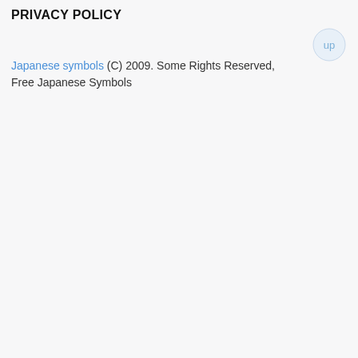PRIVACY POLICY
Japanese symbols (C) 2009. Some Rights Reserved, Free Japanese Symbols
[Figure (other): Circular 'up' navigation button in light blue/grey, positioned top-right]